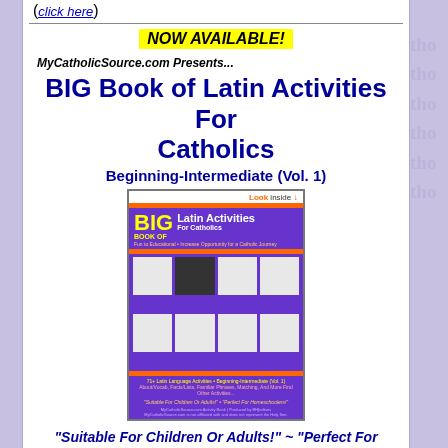(click here)
NOW AVAILABLE!
MyCatholicSource.com Presents...
BIG Book of Latin Activities For Catholics
Beginning-Intermediate (Vol. 1)
[Figure (illustration): Book cover for BIG Book of Latin Activities For Catholics, Beginning-Intermediate Vol. 1, showing a purple cover with yellow and white title text, orange stripe accents, and a grid of sample activity pages]
"Suitable For Children Or Adults!" ~ "Perfect For Homeschoolers!"
+ + +